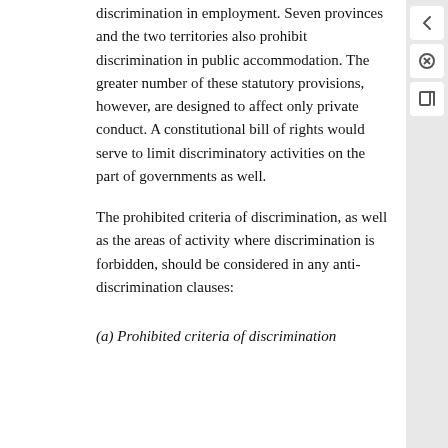discrimination in employment. Seven provinces and the two territories also prohibit discrimination in public accommodation. The greater number of these statutory provisions, however, are designed to affect only private conduct. A constitutional bill of rights would serve to limit discriminatory activities on the part of governments as well.
The prohibited criteria of discrimination, as well as the areas of activity where discrimination is forbidden, should be considered in any anti-discrimination clauses:
(a) Prohibited criteria of discrimination